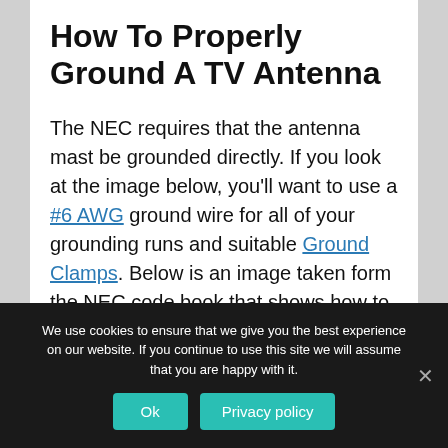How To Properly Ground A TV Antenna
The NEC requires that the antenna mast be grounded directly. If you look at the image below, you'll want to use a #6 AWG ground wire for all of your grounding runs and suitable Ground Clamps. Below is an image taken form the NEC code book that shows how to properly ground a TV antenna.
We use cookies to ensure that we give you the best experience on our website. If you continue to use this site we will assume that you are happy with it.